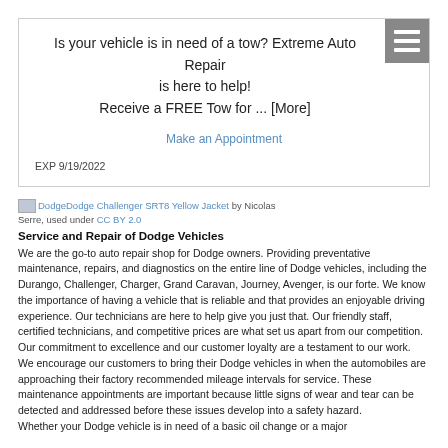Is your vehicle is in need of a tow? Extreme Auto Repair is here to help! Receive a FREE Tow for ... [More]
Make an Appointment
EXP 9/19/2022
Dodge Dodge Challenger SRT8 Yellow Jacket by Nicolas Serre, used under CC BY 2.0
Service and Repair of Dodge Vehicles
We are the go-to auto repair shop for Dodge owners. Providing preventative maintenance, repairs, and diagnostics on the entire line of Dodge vehicles, including the Durango, Challenger, Charger, Grand Caravan, Journey, Avenger, is our forte. We know the importance of having a vehicle that is reliable and that provides an enjoyable driving experience. Our technicians are here to help give you just that. Our friendly staff, certified technicians, and competitive prices are what set us apart from our competition. Our commitment to excellence and our customer loyalty are a testament to our work.
We encourage our customers to bring their Dodge vehicles in when the automobiles are approaching their factory recommended mileage intervals for service. These maintenance appointments are important because little signs of wear and tear can be detected and addressed before these issues develop into a safety hazard.
Whether your Dodge vehicle is in need of a basic oil change or a major